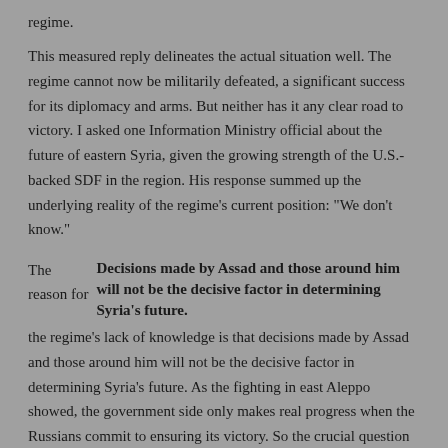regime.
This measured reply delineates the actual situation well. The regime cannot now be militarily defeated, a significant success for its diplomacy and arms. But neither has it any clear road to victory. I asked one Information Ministry official about the future of eastern Syria, given the growing strength of the U.S.-backed SDF in the region. His response summed up the underlying reality of the regime's current position: "We don't know."
The reason for the regime's lack of knowledge is that decisions made by Assad and those around him will not be the decisive factor in determining Syria's future. As the fighting in east Aleppo showed, the government side only makes real progress when the Russians commit to ensuring its victory. So the crucial question is of Russian, not Syrian, intentions — and Moscow may well have already achieved most of what
Decisions made by Assad and those around him will not be the decisive factor in determining Syria's future.